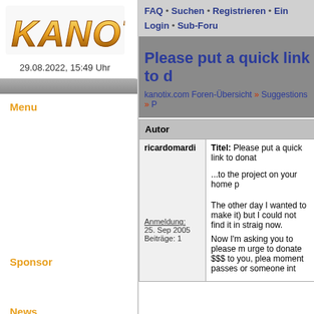[Figure (logo): KANOTIX logo in orange/gold metallic text on white background]
29.08.2022, 15:49 Uhr
Menu
FAQ • Suchen • Registrieren • Ein Login • Sub-Foru
Please put a quick link to d
kanotix.com Foren-Übersicht » Suggestions » P
| Autor |  |
| --- | --- |
| ricardomardi | Titel: Please put a quick link to donat |
|  | ...to the project on your home p |
| Anmeldung:
25. Sep 2005
Beiträge: 1 | The other day I wanted to make
it) but I could not find it in straig
now.

Now I'm asking you to please m
urge to donate $$$ to you, plea
moment passes or someone int |
Sponsor
News